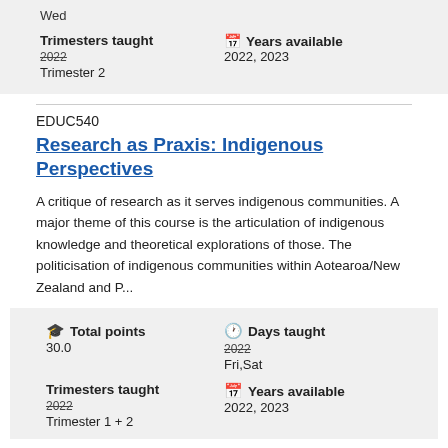Wed
Trimesters taught
2022
Trimester 2
Years available
2022, 2023
EDUC540
Research as Praxis: Indigenous Perspectives
A critique of research as it serves indigenous communities. A major theme of this course is the articulation of indigenous knowledge and theoretical explorations of those. The politicisation of indigenous communities within Aotearoa/New Zealand and P...
Total points
30.0
Days taught
2022
Fri,Sat
Trimesters taught
2022
Trimester 1 + 2
Years available
2022, 2023